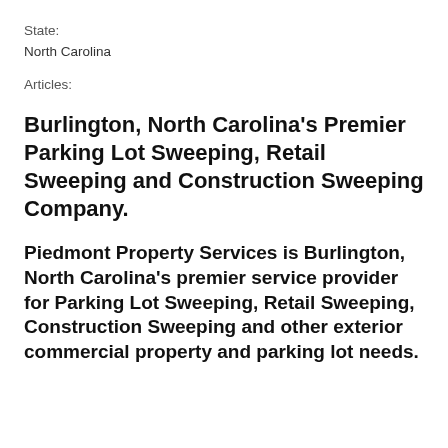State:
North Carolina
Articles:
Burlington, North Carolina's Premier Parking Lot Sweeping, Retail Sweeping and Construction Sweeping Company.
Piedmont Property Services is Burlington, North Carolina's premier service provider for Parking Lot Sweeping, Retail Sweeping, Construction Sweeping and other exterior commercial property and parking lot needs.